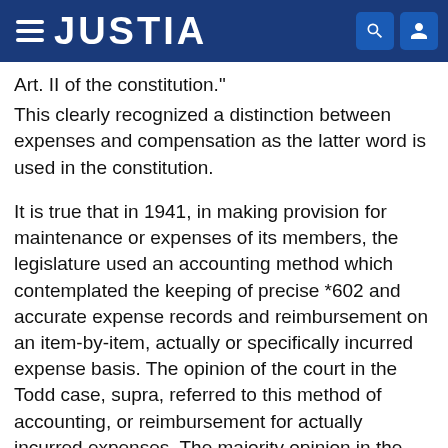JUSTIA
Art. II of the constitution."
This clearly recognized a distinction between expenses and compensation as the latter word is used in the constitution.
It is true that in 1941, in making provision for maintenance or expenses of its members, the legislature used an accounting method which contemplated the keeping of precise *602 and accurate expense records and reimbursement on an item-by-item, actually or specifically incurred expense basis. The opinion of the court in the Todd case, supra, referred to this method of accounting, or reimbursement for actually incurred expenses. The majority opinion in the instant case places, I think, too much significance upon this facet of the Todd case. Largely by emphasizing this